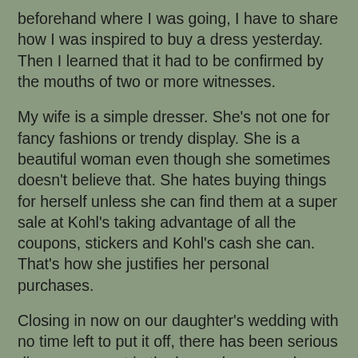beforehand where I was going, I have to share how I was inspired to buy a dress yesterday. Then I learned that it had to be confirmed by the mouths of two or more witnesses.
My wife is a simple dresser. She's not one for fancy fashions or trendy display. She is a beautiful woman even though she sometimes doesn't believe that. She hates buying things for herself unless she can find them at a super sale at Kohl's taking advantage of all the coupons, stickers and Kohl's cash she can. That's how she justifies her personal purchases.
Closing in now on our daughter's wedding with no time left to put it off, there has been serious discouragement in the house because she now has to find a suitable Mother-of-the-Bride (MOTB) dress. We've checked on-line. Our two daughters have given her considerable advice and suggestions. I've even been to Macy's and Nordstrom's at City Creek with her and thought we had things that would do but she is a challenging shopper. She's been to a lot of other stores around the Valley. She's even been to Kohl's. She has a skirt or a top that she thinks will work. But this is our youngest daughter and she, and all of us, are entitled to